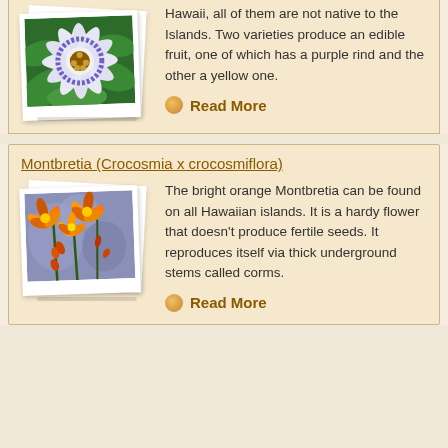[Figure (photo): Polaroid-style stacked photos of a passionflower (purple and white exotic flower with green leaves)]
Hawaii, all of them are not native to the Islands. Two varieties produce an edible fruit, one of which has a purple rind and the other a yellow one.
Read More
Montbretia (Crocosmia x crocosmiflora)
[Figure (photo): Polaroid-style stacked photos of bright orange Montbretia flowers]
The bright orange Montbretia can be found on all Hawaiian islands. It is a hardy flower that doesn't produce fertile seeds. It reproduces itself via thick underground stems called corms.
Read More